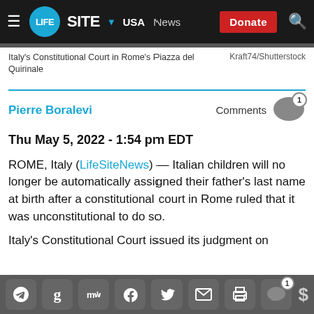LifeSite · USA · News · Donate
Italy's Constitutional Court in Rome's Piazza del Quirinale
Kraft74/Shutterstock
Pierre Boralevi
Comments 1
Thu May 5, 2022 - 1:54 pm EDT
ROME, Italy (LifeSiteNews) — Italian children will no longer be automatically assigned their father's last name at birth after a constitutional court in Rome ruled that it was unconstitutional to do so.
Italy's Constitutional Court issued its judgment on